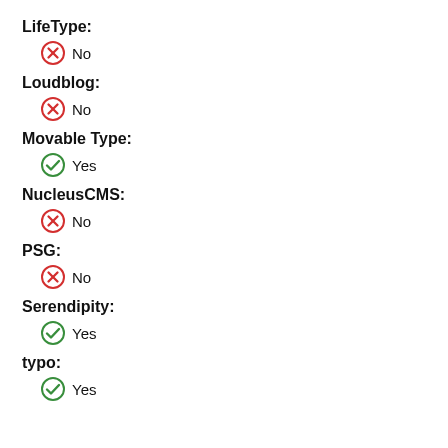LifeType:
No
Loudblog:
No
Movable Type:
Yes
NucleusCMS:
No
PSG:
No
Serendipity:
Yes
typo:
Yes